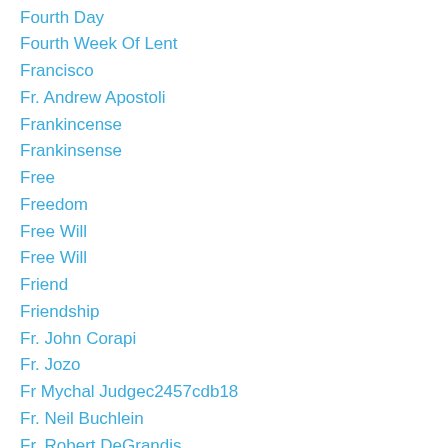Fourth Day
Fourth Week Of Lent
Francisco
Fr. Andrew Apostoli
Frankincense
Frankinsense
Free
Freedom
Free Will
Free Will
Friend
Friendship
Fr. John Corapi
Fr. Jozo
Fr Mychal Judgec2457cdb18
Fr. Neil Buchlein
Fr. Robert DeGrandis
Fr Svetozar8fd1286e82
Fruits
Fruits Of The Holy Spirit
Fulfillment